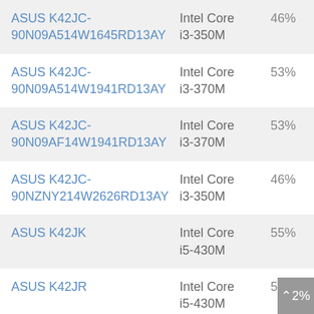| Model | Processor | Score |
| --- | --- | --- |
| ASUS K42JC-90N09A514W1645RD13AY | Intel Core i3-350M | 46% |
| ASUS K42JC-90N09A514W1941RD13AY | Intel Core i3-370M | 53% |
| ASUS K42JC-90N09AF14W1941RD13AY | Intel Core i3-370M | 53% |
| ASUS K42JC-90NZNY214W2626RD13AY | Intel Core i3-350M | 46% |
| ASUS K42JK | Intel Core i5-430M | 55% |
| ASUS K42JR | Intel Core i5-430M | 55% |
| ASUS K42JR-90N09A514W1B45RD13AY | Intel Pentium | 52% |